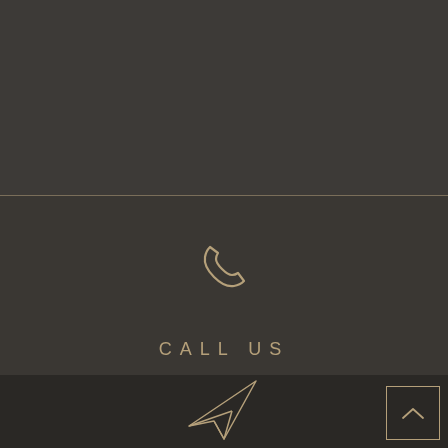[Figure (illustration): Gold outline telephone handset icon on dark background]
CALL US
+34 627 252 975 (English)
+34 627 252 863 (Spanish)
[Figure (illustration): Gold paper plane / send icon at the bottom center of the page]
[Figure (illustration): Back to top button: square with upward chevron in gold outline, bottom right corner]